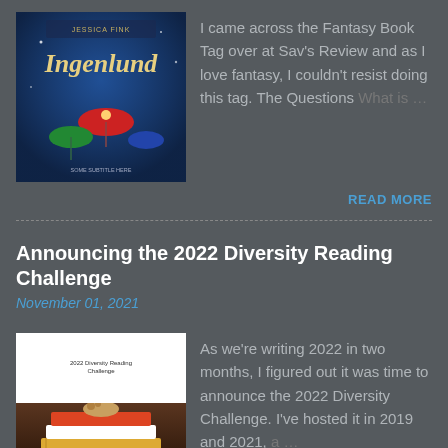[Figure (photo): Book cover of Ingenland with fantasy art showing colorful umbrellas and characters on a dark blue background]
I came across the Fantasy Book Tag over at Sav's Review and as I love fantasy, I couldn't resist doing this tag. The Questions What is …
READ MORE
Announcing the 2022 Diversity Reading Challenge
November 01, 2021
[Figure (photo): Book cover image for 2022 Diversity Reading Challenge showing text at top on white background and a stack of books at bottom]
As we're writing 2022 in two months, I figured out it was time to announce the 2022 Diversity Challenge. I've hosted it in 2019 and 2021, a …
READ MORE
Announcing the 2022 WWII Reading